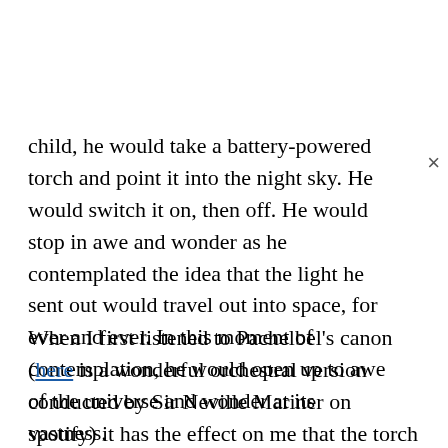child, he would take a battery-powered torch and point it into the night sky. He would switch it on, then off. He would stop in awe and wonder as he contemplated the idea that the light he sent out would travel out into space, for ever and ever. In this moment of contemplation, he would open up to awe of the universe and wonder at its vastness.
When I first listened to Pachelbel's canon (here is a wonderful orchestral version conducted by Sir Neville Mariner on spotify) it has the effect on me that the torch had on John. I remember